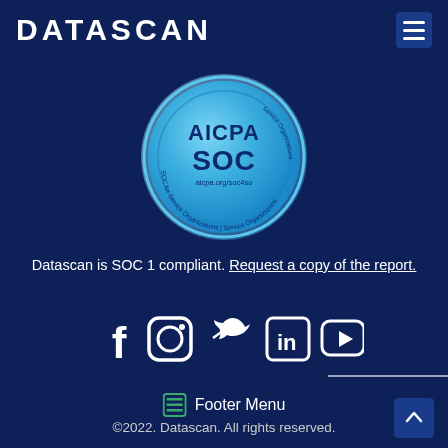[Figure (logo): DATASCAN logo in white bold text on dark navy background]
[Figure (illustration): AICPA SOC badge/seal — circular badge with light blue gradient, text: AICPA SOC, aicpa.org/soc4so, SOC for Service Organizations | Service Organizations]
Datascan is SOC 1 compliant. Request a copy of the report.
[Figure (infographic): Social media icons row: Facebook, Instagram, Twitter, LinkedIn, YouTube — all white on dark navy]
Footer Menu
©2022. Datascan. All rights reserved.